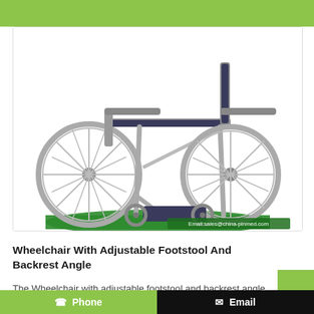[Figure (photo): A manual wheelchair with adjustable footstool and backrest angle, shown from a front-side angle against a white background. Chrome frame with dark seat and footrests. Email address overlay: sales@china-pinmed.com]
Wheelchair With Adjustable Footstool And Backrest Angle
The Wheelchair with adjustable footstool and backrest angle with CE is our hot sale product in recent year. The following is an introduction to durable Wheelchair With Adjustable Footstool And Backrest Angle, I hope to help you better understand Fancy Wheelchair With Adjustable Footstool And Backrest Angle. And we will offer you the best after sale...
☎ Phone   ✉ Email